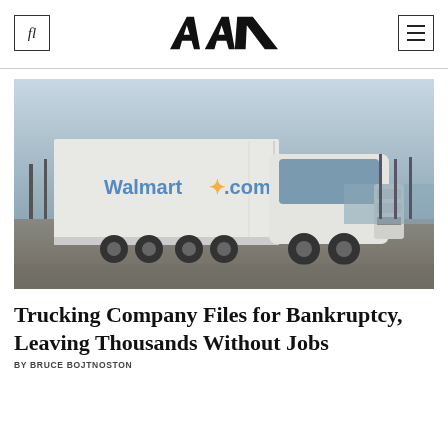AAT (logo)
[Figure (photo): A white Walmart.com semi-truck and trailer parked on a gravel lot with bare trees and a body of water in the background.]
Trucking Company Files for Bankruptcy, Leaving Thousands Without Jobs
BY BRUCE BOJTNOSTON